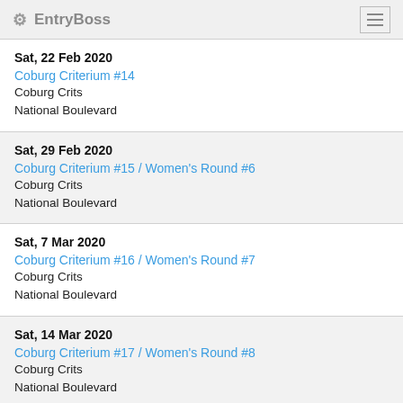EntryBoss
Sat, 22 Feb 2020
Coburg Criterium #14
Coburg Crits
National Boulevard
Sat, 29 Feb 2020
Coburg Criterium #15 / Women's Round #6
Coburg Crits
National Boulevard
Sat, 7 Mar 2020
Coburg Criterium #16 / Women's Round #7
Coburg Crits
National Boulevard
Sat, 14 Mar 2020
Coburg Criterium #17 / Women's Round #8
Coburg Crits
National Boulevard